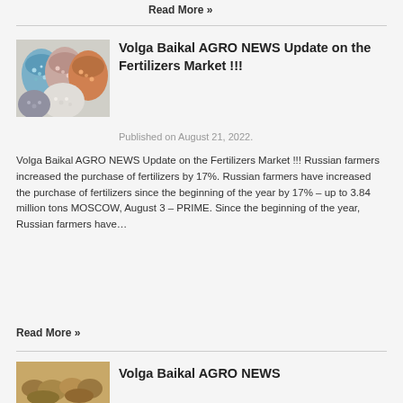Read More »
[Figure (photo): Bags of colorful fertilizer granules/seeds seen from above]
Volga Baikal AGRO NEWS Update on the Fertilizers Market !!!
Published on August 21, 2022.
Volga Baikal AGRO NEWS Update on the Fertilizers Market !!! Russian farmers increased the purchase of fertilizers by 17%. Russian farmers have increased the purchase of fertilizers since the beginning of the year by 17% – up to 3.84 million tons MOSCOW, August 3 – PRIME. Since the beginning of the year, Russian farmers have…
Read More »
[Figure (photo): Close-up of agricultural produce/potatoes]
Volga Baikal AGRO NEWS